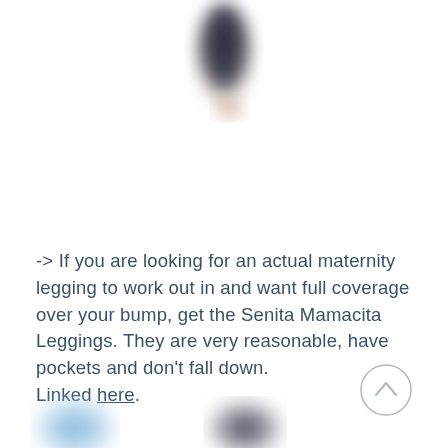[Figure (photo): Blurred photo of dark-colored maternity leggings, cropped at top of page]
-> If you are looking for an actual maternity legging to work out in and want full coverage over your bump, get the Senita Mamacita Leggings. They are very reasonable, have pockets and don't fall down.
Linked here.
[Figure (photo): Blurred blue object at bottom left corner]
[Figure (photo): Blurred dark object at bottom right area]